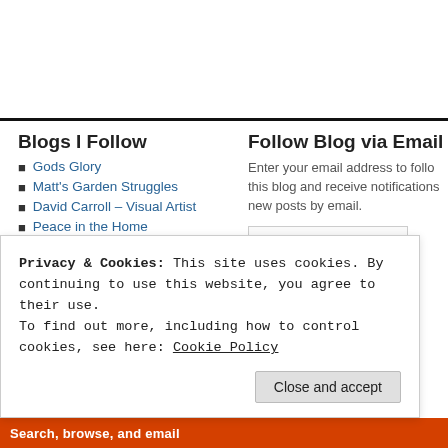Blogs I Follow
Gods Glory
Matt's Garden Struggles
David Carroll – Visual Artist
Peace in the Home
From the Inside Out
WTF? (Where's the faith?)
Pilgrim's Progress Revisited – Christiana on the Narrow Way
Follow Blog via Email
Enter your email address to follow this blog and receive notifications of new posts by email.
Privacy & Cookies: This site uses cookies. By continuing to use this website, you agree to their use.
To find out more, including how to control cookies, see here: Cookie Policy
Close and accept
Search, browse, and email